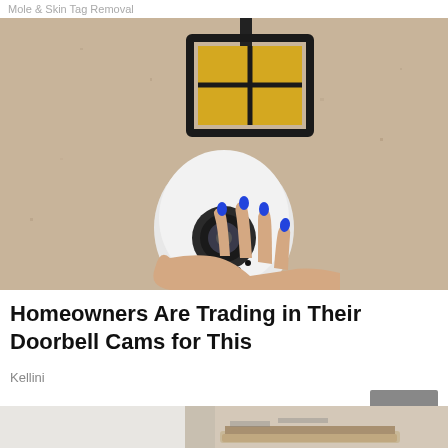Mole & Skin Tag Removal
[Figure (photo): A white dome security camera held by a hand with blue painted nails, mounted near a black lantern-style light fixture on a beige stucco wall]
Homeowners Are Trading in Their Doorbell Cams for This
Kellini
[Figure (photo): Partial view of a person's legs and feet wearing white pants and brown and white platform sandals/espadrilles]